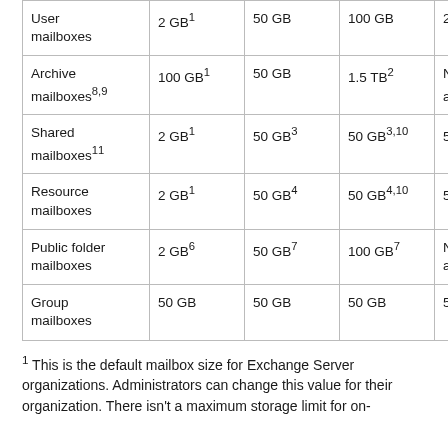| User mailboxes | 2 GB¹ | 50 GB | 100 GB | 2 GB |
| Archive mailboxes⁸·⁹ | 100 GB¹ | 50 GB | 1.5 TB² | Not available⁵ |
| Shared mailboxes¹¹ | 2 GB¹ | 50 GB³ | 50 GB³·¹⁰ | 50 GB³ |
| Resource mailboxes | 2 GB¹ | 50 GB⁴ | 50 GB⁴·¹⁰ | 50 GB⁴ |
| Public folder mailboxes | 2 GB⁶ | 50 GB⁷ | 100 GB⁷ | Not available |
| Group mailboxes | 50 GB | 50 GB | 50 GB | 50 GB |
¹ This is the default mailbox size for Exchange Server organizations. Administrators can change this value for their organization. There isn't a maximum storage limit for on-